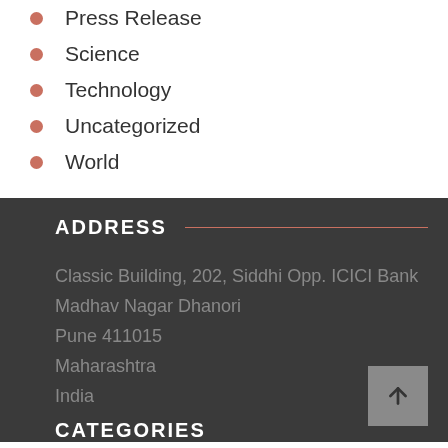Press Release
Science
Technology
Uncategorized
World
ADDRESS
Classic Building, 202, Siddhi Opp. ICICI Bank
Madhav Nagar Dhanori
Pune 411015
Maharashtra
India